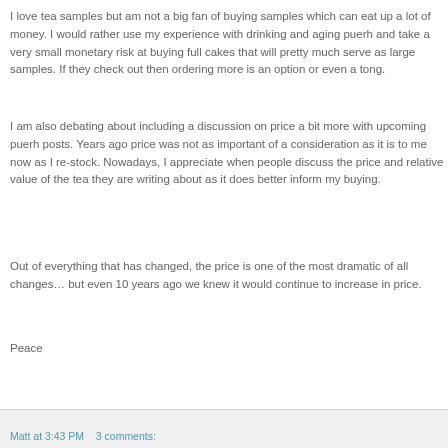I love tea samples but am not a big fan of buying samples which can eat up a lot of money.  I would rather use my experience with drinking and aging puerh and take a very small monetary risk at buying full cakes that will pretty much serve as large samples.  If they check out then ordering more is an option or even a tong.
I am also debating about including a discussion on price a bit more with upcoming puerh posts.  Years ago price was not as important of a consideration as it is to me now as I re-stock.  Nowadays, I appreciate when people discuss the price and relative value of the tea they are writing about as it does better inform my buying.
Out of everything that has changed, the price is one of the most dramatic of all changes… but even 10 years ago we knew it would continue to increase in price.
Peace
Matt at 3:43 PM    3 comments: